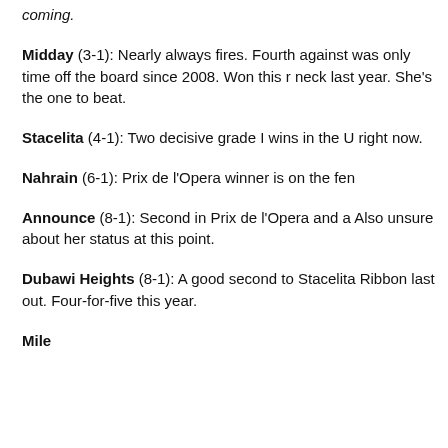coming.
Midday (3-1): Nearly always fires. Fourth against was only time off the board since 2008. Won this r neck last year. She's the one to beat.
Stacelita (4-1): Two decisive grade I wins in the U right now.
Nahrain (6-1): Prix de l'Opera winner is on the fen
Announce (8-1): Second in Prix de l'Opera and a Also unsure about her status at this point.
Dubawi Heights (8-1): A good second to Stacelita Ribbon last out. Four-for-five this year.
Mile